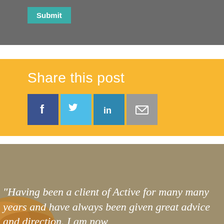[Figure (screenshot): Gray bar with a teal Submit button]
[Figure (infographic): Orange/yellow Share this post section with Facebook, Twitter, LinkedIn, and Email social sharing icons]
“Having been a client of Active for many many years and have always been given great advice and direction. I am now